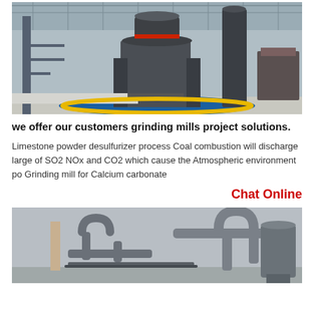[Figure (photo): Industrial grinding mill machinery inside a large factory/warehouse. Large dark grey vertical mill equipment with cylindrical parts, situated on a blue circular base. Other industrial equipment visible in background.]
we offer our customers grinding mills project solutions.
Limestone powder desulfurizer process Coal combustion will discharge large of SO2 NOx and CO2 which cause the Atmospheric environment po Grinding mill for Calcium carbonate
Chat Online
[Figure (photo): Industrial equipment outdoors. Grey piping and duct machinery, possibly a cyclone or grinding mill system, against a hazy sky. A chimney stack visible on the left.]